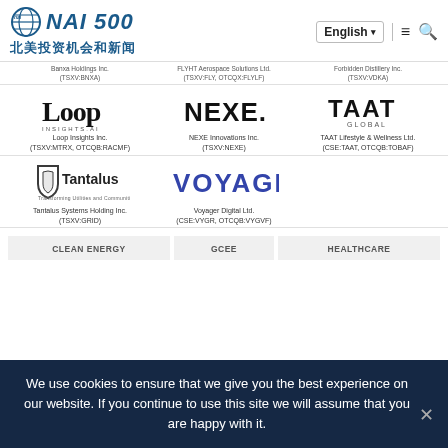NAI 500 北美投资机会和新闻
Banxa Holdings Inc. (TSXV:BNXA)
FLYHT Aerospace Solutions Ltd. (TSXV:FLY, OTCQX:FLYLF)
Forbidden Distillery Inc. (TSXV:VDKA)
[Figure (logo): Loop Insights AI logo in black bold serif font]
Loop Insights Inc. (TSXV:MTRX, OTCQB:RACMF)
[Figure (logo): NEXE. logo in dark sans-serif font]
NEXE Innovations Inc. (TSXV:NEXE)
[Figure (logo): TAAT GLOBAL logo in bold black sans-serif font]
TAAT Lifestyle & Wellness Ltd. (CSE:TAAT, OTCQB:TOBAF)
[Figure (logo): Tantalus logo with shield icon]
Tantalus Systems Holding Inc. (TSXV:GRID)
[Figure (logo): VOYAGER logo in blue bold sans-serif]
Voyager Digital Ltd. (CSE:VYGR, OTCQB:VYGVF)
CLEAN ENERGY
GCEE
HEALTHCARE
We use cookies to ensure that we give you the best experience on our website. If you continue to use this site we will assume that you are happy with it.